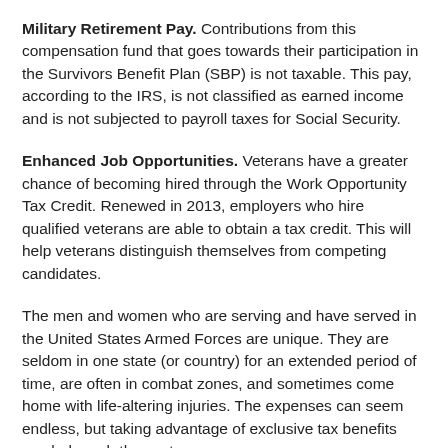Military Retirement Pay. Contributions from this compensation fund that goes towards their participation in the Survivors Benefit Plan (SBP) is not taxable. This pay, according to the IRS, is not classified as earned income and is not subjected to payroll taxes for Social Security.
Enhanced Job Opportunities. Veterans have a greater chance of becoming hired through the Work Opportunity Tax Credit. Renewed in 2013, employers who hire qualified veterans are able to obtain a tax credit. This will help veterans distinguish themselves from competing candidates.
The men and women who are serving and have served in the United States Armed Forces are unique. They are seldom in one state (or country) for an extended period of time, are often in combat zones, and sometimes come home with life-altering injuries. The expenses can seem endless, but taking advantage of exclusive tax benefits can help curb the costs.